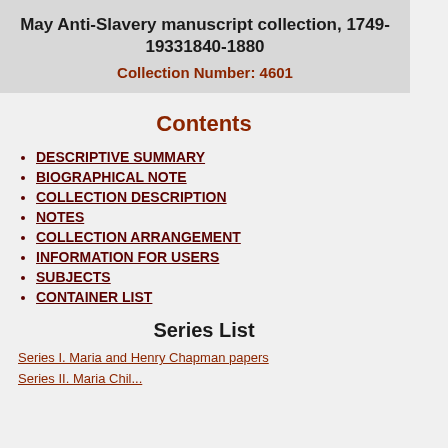May Anti-Slavery manuscript collection, 1749-19331840-1880
Collection Number: 4601
Contents
DESCRIPTIVE SUMMARY
BIOGRAPHICAL NOTE
COLLECTION DESCRIPTION
NOTES
COLLECTION ARRANGEMENT
INFORMATION FOR USERS
SUBJECTS
CONTAINER LIST
Series List
Series I. Maria and Henry Chapman papers